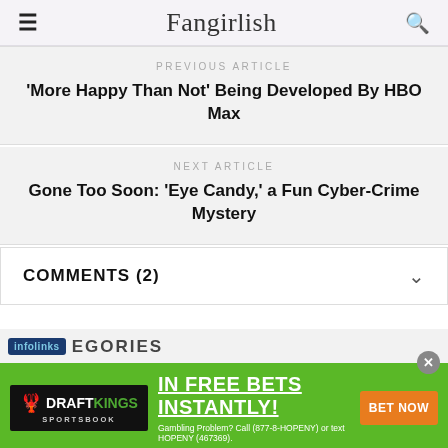Fangirlish
PREVIOUS ARTICLE
'More Happy Than Not' Being Developed By HBO Max
NEXT ARTICLE
Gone Too Soon: 'Eye Candy,' a Fun Cyber-Crime Mystery
COMMENTS (2)
CATEGORIES
[Figure (screenshot): DraftKings Sportsbook advertisement banner with green background. Text: IN FREE BETS INSTANTLY! BET NOW button. Gambling Problem? Call (877-8-HOPENY) or text HOPENY (467369).]